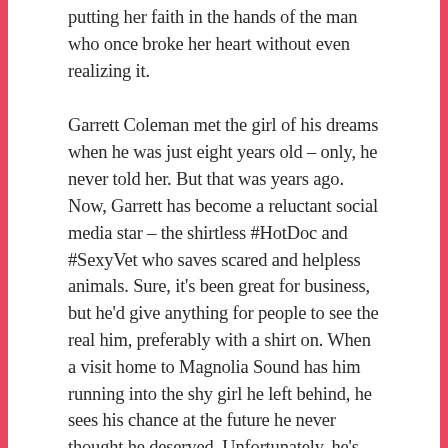putting her faith in the hands of the man who once broke her heart without even realizing it.
Garrett Coleman met the girl of his dreams when he was just eight years old – only, he never told her. But that was years ago. Now, Garrett has become a reluctant social media star – the shirtless #HotDoc and #SexyVet who saves scared and helpless animals. Sure, it's been great for business, but he'd give anything for people to see the real him, preferably with a shirt on. When a visit home to Magnolia Sound has him running into the shy girl he left behind, he sees his chance at the future he never thought he deserved. Unfortunately, he's not the only one back in town, and wooing Emmaline just became a lot more complicated.
A lot has changed since he's been gone and Garrett is going to have to prove that he's up to the challenge. Emmaline might still be the sweet and quiet girl he left behind, but he's